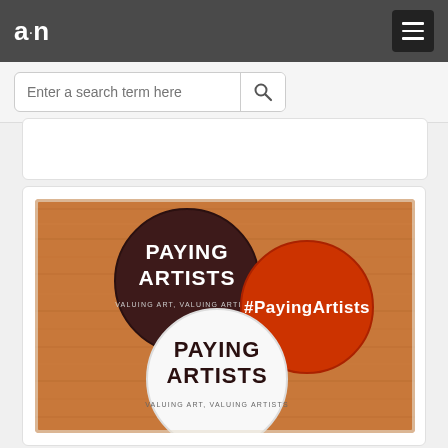a·n — navigation bar with menu button
Enter a search term here
[Figure (photo): Three badge/button pins on a wooden surface. One dark brown/maroon circle badge reads PAYING ARTISTS / VALUING ART, VALUING ARTISTS. One white circle badge reads PAYING ARTISTS / VALUING ART, VALUING ARTISTS. One red/orange circle badge reads #PayingArtists.]